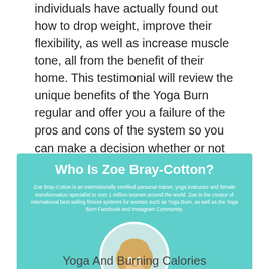individuals have actually found out how to drop weight, improve their flexibility, as well as increase muscle tone, all from the benefit of their home. This testimonial will review the unique benefits of the Yoga Burn regular and offer you a failure of the pros and cons of the system so you can make a decision whether or not the Yoga Burn system is the appropriate choice for you.
[Figure (infographic): Teal infographic box with title 'Who Is Zoe Bray-Cotton?', a short bio paragraph, and a circular portrait photo of a blonde woman]
Yoga And Burning Calories